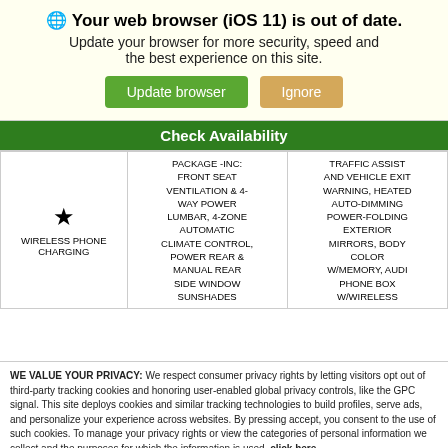🌐 Your web browser (iOS 11) is out of date. Update your browser for more security, speed and the best experience on this site.
Check Availability
|  | PACKAGE -INC: FRONT SEAT VENTILATION & 4-WAY POWER LUMBAR, 4-ZONE AUTOMATIC CLIMATE CONTROL, POWER REAR & MANUAL REAR SIDE WINDOW SUNSHADES | TRAFFIC ASSIST AND VEHICLE EXIT WARNING, HEATED AUTO-DIMMING POWER-FOLDING EXTERIOR MIRRORS, BODY COLOR W/MEMORY, AUDI PHONE BOX W/WIRELESS |
| --- | --- | --- |
| ★ WIRELESS PHONE CHARGING | PACKAGE -INC: FRONT SEAT VENTILATION & 4-WAY POWER LUMBAR, 4-ZONE AUTOMATIC CLIMATE CONTROL, POWER REAR & MANUAL REAR SIDE WINDOW SUNSHADES | TRAFFIC ASSIST AND VEHICLE EXIT WARNING, HEATED AUTO-DIMMING POWER-FOLDING EXTERIOR MIRRORS, BODY COLOR W/MEMORY, AUDI PHONE BOX W/WIRELESS |
WE VALUE YOUR PRIVACY: We respect consumer privacy rights by letting visitors opt out of third-party tracking cookies and honoring user-enabled global privacy controls, like the GPC signal. This site deploys cookies and similar tracking technologies to build profiles, serve ads, and personalize your experience across websites. By pressing accept, you consent to the use of such cookies. To manage your privacy rights or view the categories of personal information we collect and the purposes for which the information is used, click here.
Language: English ∨  Powered by ComplyAuto
Accept and Continue → Privacy Policy ×